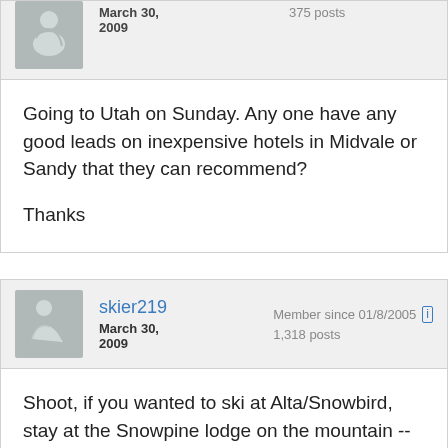March 30, 2009   375 posts
Going to Utah on Sunday. Any one have any good leads on inexpensive hotels in Midvale or Sandy that they can recommend?

Thanks
skier219   Member since 01/8/2005   1,318 posts   March 30, 2009
Shoot, if you wanted to ski at Alta/Snowbird, stay at the Snowpine lodge on the mountain -- they have a special for $59 per person per night, including breakfast and dinner. That's for a dorm ...